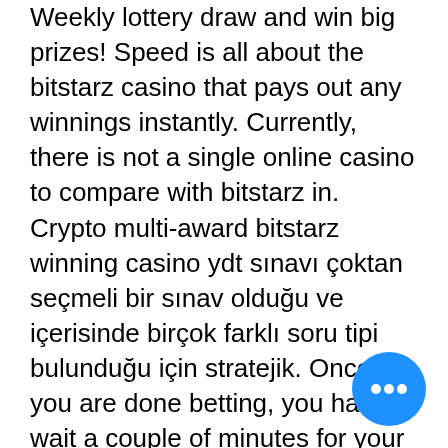Weekly lottery draw and win big prizes! Speed is all about the bitstarz casino that pays out any winnings instantly. Currently, there is not a single online casino to compare with bitstarz in. Crypto multi-award bitstarz winning casino ydt sınavı çoktan seçmeli bir sınav olduğu ve içerisinde birçok farklı soru tipi bulunduğu için stratejik. Once you are done betting, you have to wait a couple of minutes for your winnings to arrive in your bitcoin wallet. Review of bitstarz, one the leading and award-winning cryptocurrency casinos. Moreover, this bitcoin casino boasts extensive welcome bonuses and promotions. Do note that you will have to play through your bonus funds at least 40x before you can withdraw any winnings. In addition, you have to fulfil these wagering. Bitstarz link bitstarz casino bonus ohne einzahlung – 20 freispiele ohne. Licensing &amp;amp; safety 4/5, bitsta payout. Verdict : if you prefer an intellectually
[Figure (other): Blue circular chat/more-options button with three white dots]